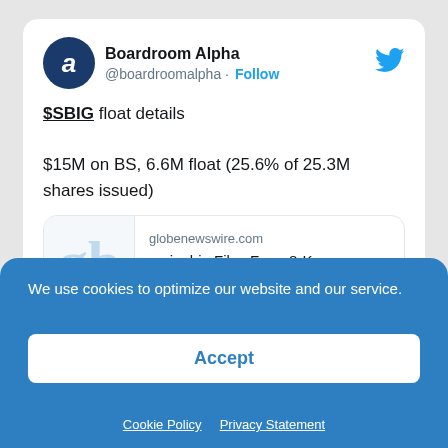[Figure (screenshot): Tweet from Boardroom Alpha (@boardroomalpha) with Twitter bird icon. Shows '$SBIG float details' and '$15M on BS, 6.6M float (25.6% of 25.3M shares issued)'. Includes a link preview from globenewswire.com: 'springbig Files Form 8-K Disclosing Additional Details fro...' Timestamp: 11:58 AM · Jun 21, 2022.]
We use cookies to optimize our website and our service.
Accept
Cookie Policy  Privacy Statement